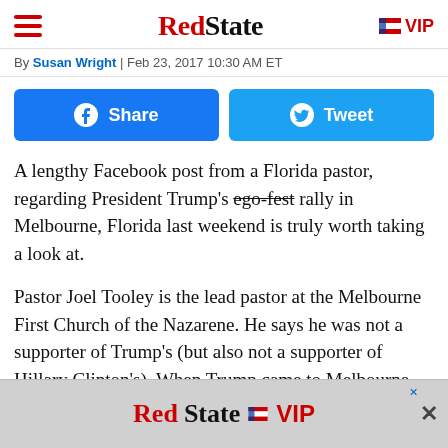RedState
By Susan Wright | Feb 23, 2017 10:30 AM ET
[Figure (screenshot): Social share buttons: Facebook Share button (blue) and Twitter Tweet button (blue)]
A lengthy Facebook post from a Florida pastor, regarding President Trump's ego-fest rally in Melbourne, Florida last weekend is truly worth taking a look at.
Pastor Joel Tooley is the lead pastor at the Melbourne First Church of the Nazarene. He says he was not a supporter of Trump's (but also not a supporter of Hillary Clinton's). When Trump came to Melbourne, however, he saw this as a great opportunity to take his 11-year old daughter for a bit of a live Civics lesson.
[Figure (screenshot): RedState VIP advertisement banner at bottom of page]